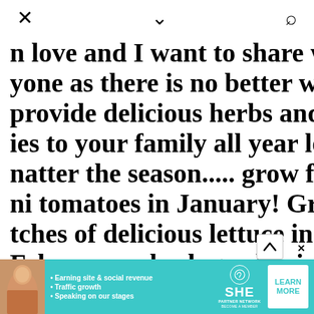× ∨ 🔍
n love and I want to share with yone as there is no better way provide delicious herbs and ies to your family all year long! natter the season..... grow fresh ni tomatoes in January! Grow tches of delicious lettuce in February, a herb garden in rch.....and well the sky is the it with Click and Grow!Check m out today via their website
[Figure (screenshot): Advertisement banner for SHE PARTNER NETWORK with teal background, woman photo, bullet points about earning site & social revenue, traffic growth, speaking on stages, and a LEARN MORE button]